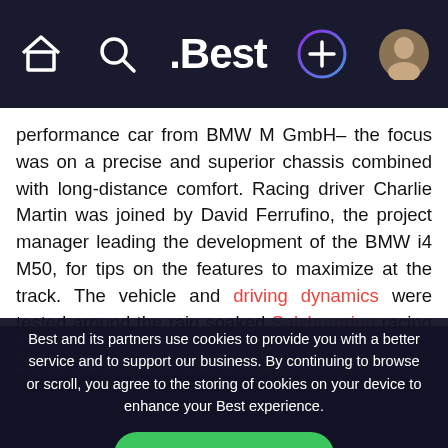.Best
performance car from BMW M GmbH– the focus was on a precise and superior chassis combined with long-distance comfort. Racing driver Charlie Martin was joined by David Ferrufino, the project manager leading the development of the BMW i4 M50, for tips on the features to maximize at the track. The vehicle and driving dynamics were tested around the rain soaked Salzburgring racing circuit, and the
Best and its partners use cookies to provide you with a better service and to support our business. By continuing to browse or scroll, you agree to the storing of cookies on your device to enhance your Best experience.
Accept cookies
Only essentials
Learn more about our privacy policy.